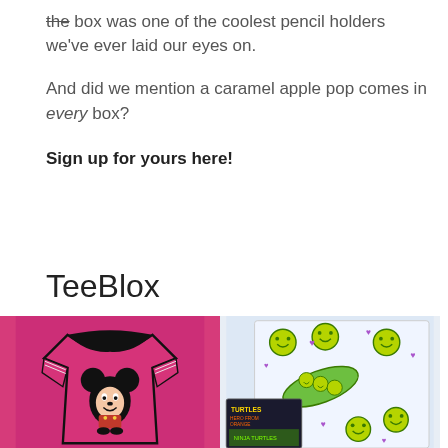the box was one of the coolest pencil holders we've ever laid our eyes on.
And did we mention a caramel apple pop comes in every box?
Sign up for yours here!
TeeBlox
[Figure (photo): A pink/magenta Mickey Mouse graphic t-shirt displayed flat, and a sticker sheet with smiley face and pea pod designs along with what appears to be trading cards or magazines]